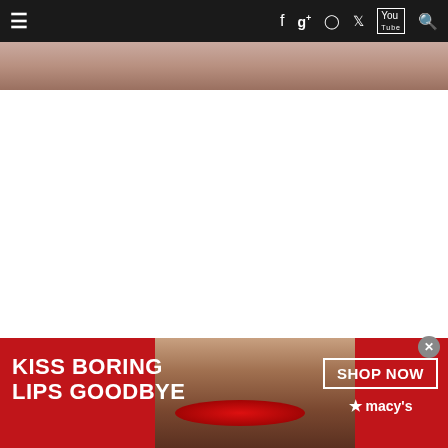≡  f  g+  ○  🐦  You  🔍
[Figure (photo): Top portion of a person's photo cropped at top of page]
Quinten Hermans Will Miss Fayetteville Cyclocross World Championships
[Figure (illustration): Advertisement banner: KISS BORING LIPS GOODBYE with a woman's face with red lips, SHOP NOW button, macy's logo with star]